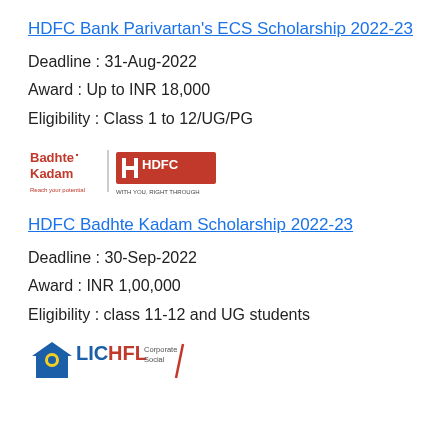HDFC Bank Parivartan's ECS Scholarship 2022-23
Deadline : 31-Aug-2022
Award : Up to INR 18,000
Eligibility : Class 1 to 12/UG/PG
[Figure (logo): Badhte Kadam | HDFC Bank logo with red box and text 'WITH YOU, RIGHT THROUGH']
HDFC Badhte Kadam Scholarship 2022-23
Deadline : 30-Sep-2022
Award : INR 1,00,000
Eligibility : class 11-12 and UG students
[Figure (logo): LIC HFL Corporate Social logo (partially visible at bottom)]